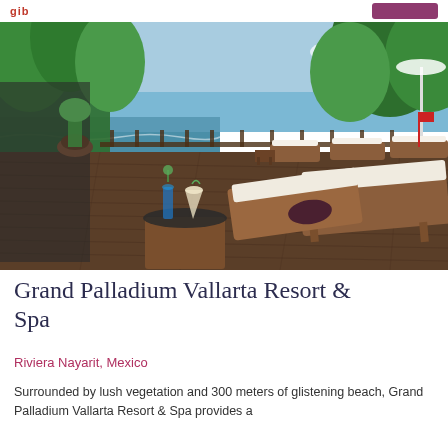gib   [button]
[Figure (photo): Resort deck with wooden lounge chairs with white cushions, cocktail drinks on a small table, ocean and lush green trees in the background under blue sky]
Grand Palladium Vallarta Resort & Spa
Riviera Nayarit, Mexico
Surrounded by lush vegetation and 300 meters of glistening beach, Grand Palladium Vallarta Resort & Spa provides a...